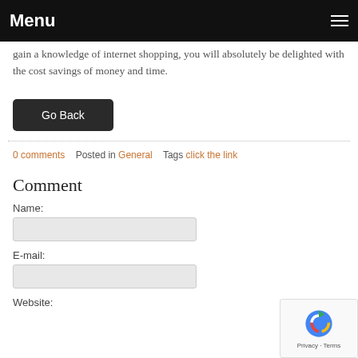Menu
gain a knowledge of internet shopping, you will absolutely be delighted with the cost savings of money and time.
Go Back
0 comments   Posted in General   Tags click the link
Comment
Name:
E-mail:
Website: